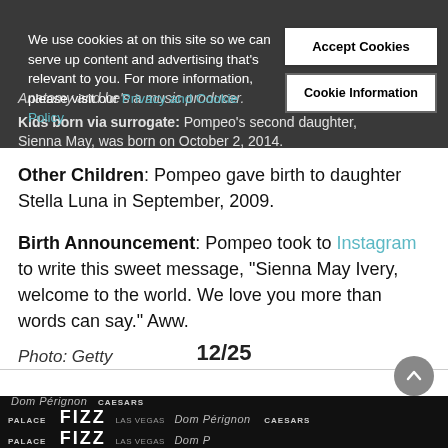We use cookies at on this site so we can serve up content and advertising that's relevant to you. For more information, please visit our Privacy and Cookie Policy
Anatomy and he's a music producer.
Kids born via surrogate: Pompeo's second daughter, Sienna May, was born on October 2, 2014.
Other Children: Pompeo gave birth to daughter Stella Luna in September, 2009.
Birth Announcement: Pompeo took to Instagram to write this sweet message, "Sienna May Ivery, welcome to the world. We love you more than words can say." Aww.
Photo: Getty
12/25
[Figure (photo): Bottom advertisement strip showing Dom Perignon, Caesars Palace, and FIZZ Las Vegas branding on dark background]